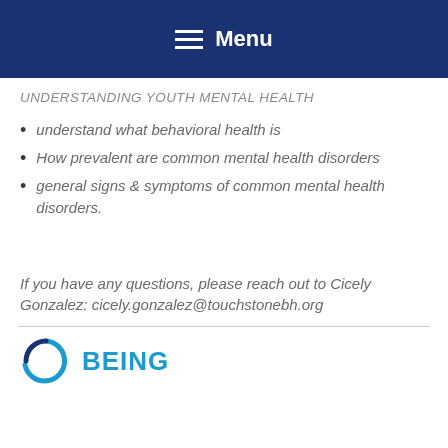Menu
UNDERSTANDING YOUTH MENTAL HEALTH
understand what behavioral health is
How prevalent are common mental health disorders
general signs & symptoms of common mental health disorders.
If you have any questions, please reach out to Cicely Gonzalez: cicely.gonzalez@touchstonebh.org
[Figure (logo): Circular logo arc with 'BEING' text in teal]